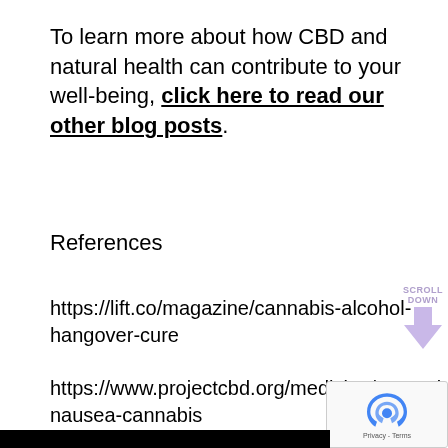To learn more about how CBD and natural health can contribute to your well-being, click here to read our other blog posts.
References
https://lift.co/magazine/cannabis-alcohol-hangover-cure
https://www.projectcbd.org/medicine/managing-nausea-cannabis
http://content.time.com/time/specials/pa